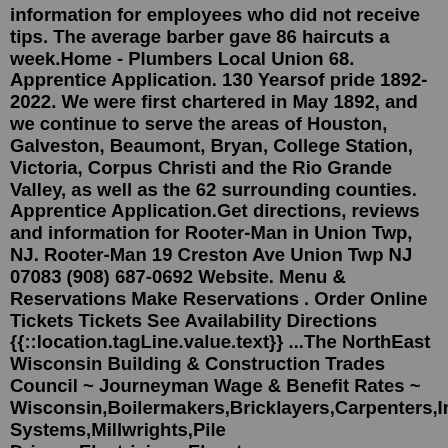information for employees who did not receive tips. The average barber gave 86 haircuts a week.Home - Plumbers Local Union 68. Apprentice Application. 130 Yearsof pride 1892-2022. We were first chartered in May 1892, and we continue to serve the areas of Houston, Galveston, Beaumont, Bryan, College Station, Victoria, Corpus Christi and the Rio Grande Valley, as well as the 62 surrounding counties. Apprentice Application.Get directions, reviews and information for Rooter-Man in Union Twp, NJ. Rooter-Man 19 Creston Ave Union Twp NJ 07083 (908) 687-0692 Website. Menu & Reservations Make Reservations . Order Online Tickets Tickets See Availability Directions {{::location.tagLine.value.text}} ...The NorthEast Wisconsin Building & Construction Trades Council ~ Journeyman Wage & Benefit Rates ~ Wisconsin,Boilermakers,Bricklayers,Carpenters,Interior Systems,Millwrights,Pile Drivers,Electricians,Elevator